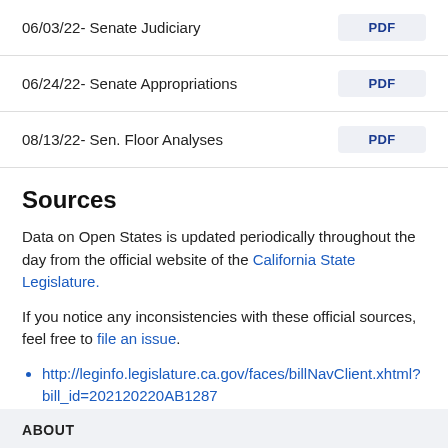06/03/22- Senate Judiciary  PDF
06/24/22- Senate Appropriations  PDF
08/13/22- Sen. Floor Analyses  PDF
Sources
Data on Open States is updated periodically throughout the day from the official website of the California State Legislature.
If you notice any inconsistencies with these official sources, feel free to file an issue.
http://leginfo.legislature.ca.gov/faces/billNavClient.xhtml?bill_id=202120220AB1287
ABOUT